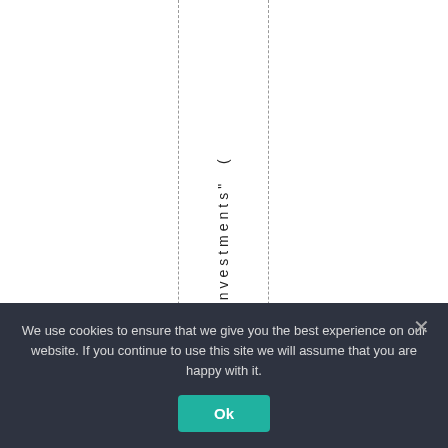ties" investments" (
We use cookies to ensure that we give you the best experience on our website. If you continue to use this site we will assume that you are happy with it.